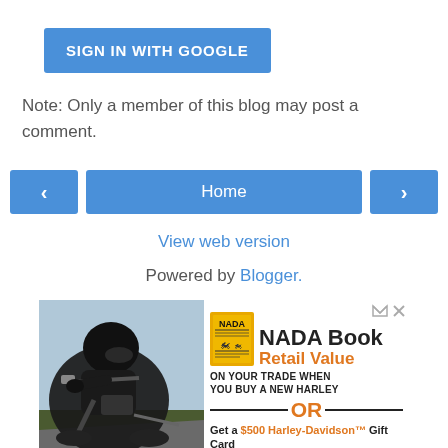SIGN IN WITH GOOGLE
Note: Only a member of this blog may post a comment.
‹
Home
›
View web version
Powered by Blogger.
[Figure (screenshot): Advertisement for NADA Book Retail Value with motorcycle photo, offering retail value on trade when buying a new Harley OR a $500 Harley-Davidson Gift Card on the purchase of a...]